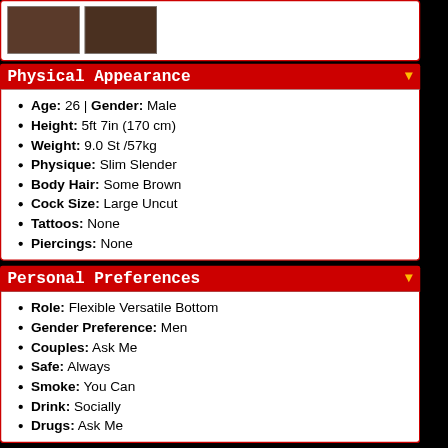[Figure (photo): Two thumbnail photos of a person]
Physical Appearance
Age: 26 | Gender: Male
Height: 5ft 7in (170 cm)
Weight: 9.0 St /57kg
Physique: Slim Slender
Body Hair: Some Brown
Cock Size: Large Uncut
Tattoos: None
Piercings: None
Personal Preferences
Role: Flexible Versatile Bottom
Gender Preference: Men
Couples: Ask Me
Safe: Always
Smoke: You Can
Drink: Socially
Drugs: Ask Me
Interests & Fetish
Experience, Fetish, Master and Slave, Kissing
LadsList Chat — 0 users in chat — Enter Chat Room